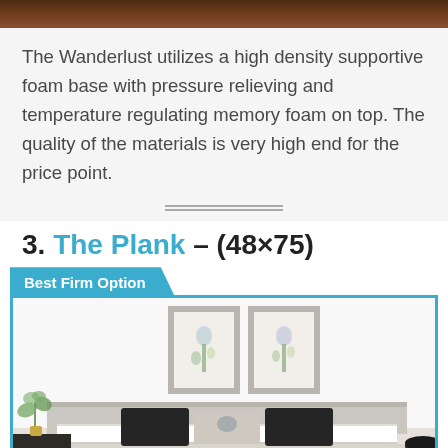[Figure (photo): Top portion of a bedroom/mattress photo (cropped, dark wood tones visible at top)]
The Wanderlust utilizes a high density supportive foam base with pressure relieving and temperature regulating memory foam on top. The quality of the materials is very high end for the price point.
3. The Plank – (48×75)
Best Firm Option
[Figure (photo): Bedroom scene showing a neatly made white bed with black pillows, two framed botanical prints on the wall behind, nightstand with plant on the left, and dark decorative bowl on the right. The image is bordered by a blue/teal border.]